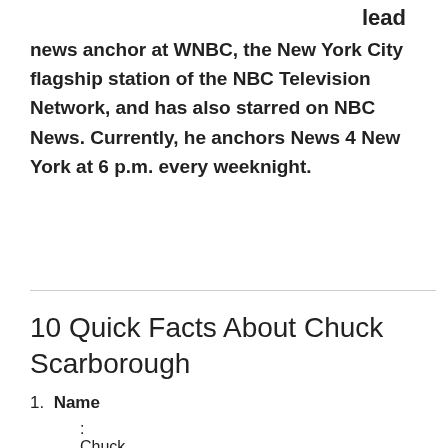the lead news anchor at WNBC, the New York City flagship station of the NBC Television Network, and has also starred on NBC News. Currently, he anchors News 4 New York at 6 p.m. every weeknight.
10 Quick Facts About Chuck Scarborough
1. Name : Chuck Scarb